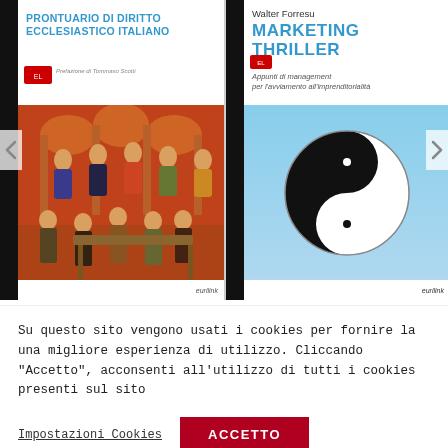[Figure (illustration): Website carousel showing two book covers side by side. Left book: 'Prontuario di Diritto Ecclesiastico Italiano' with a medieval painting of scholars/clergy. Right book: 'Marketing Thriller' by Walter Forresu with a yin-yang symbol on blue background. Navigation arrows visible on left and right edges.]
Su questo sito vengono usati i cookies per fornire la una migliore esperienza di utilizzo. Cliccando "Accetto", acconsenti all'utilizzo di tutti i cookies presenti sul sito
Impostazioni Cookies
ACCETTO